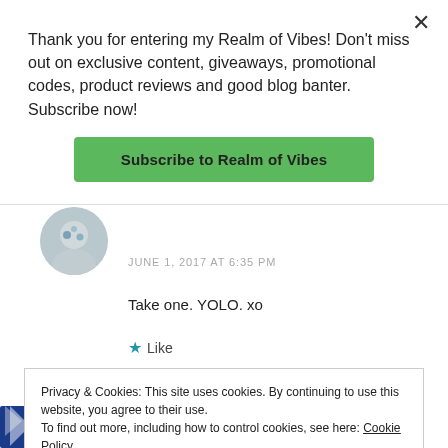Thank you for entering my Realm of Vibes! Don't miss out on exclusive content, giveaways, promotional codes, product reviews and good blog banter. Subscribe now!
Subscribe to Realm of Vibes
JUNE 1, 2017 AT 6:35 PM
Take one. YOLO. xo
★ Like
Privacy & Cookies: This site uses cookies. By continuing to use this website, you agree to their use.
To find out more, including how to control cookies, see here: Cookie Policy
Close and accept
Melissa